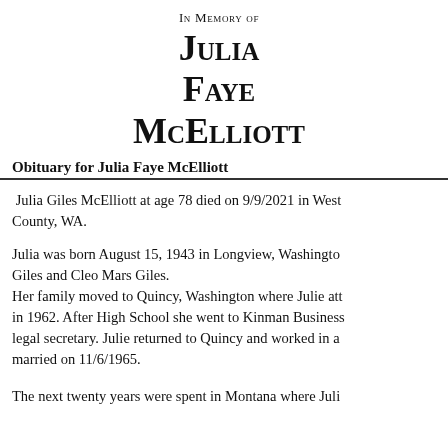In Memory of Julia Faye McElliott
Obituary for Julia Faye McElliott
Julia Giles McElliott at age 78 died on 9/9/2021 in West County, WA.
Julia was born August 15, 1943 in Longview, Washington Giles and Cleo Mars Giles. Her family moved to Quincy, Washington where Julie att in 1962. After High School she went to Kinman Business legal secretary. Julie returned to Quincy and worked in a married on 11/6/1965.
The next twenty years were spent in Montana where Juli